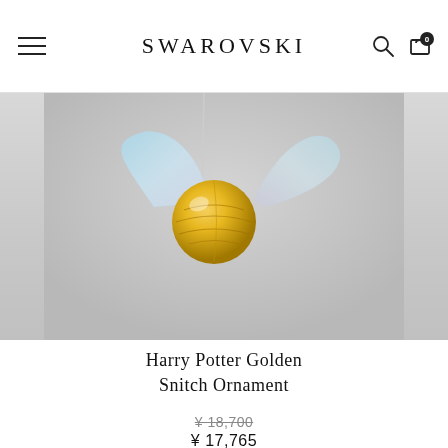SWAROVSKI
[Figure (photo): Harry Potter Golden Snitch crystal ornament hanging against a light grey background. The ornament features a golden spherical body with iridescent crystal wings.]
Harry Potter Golden Snitch Ornament
¥ 18,700 (strikethrough) ¥ 17,765